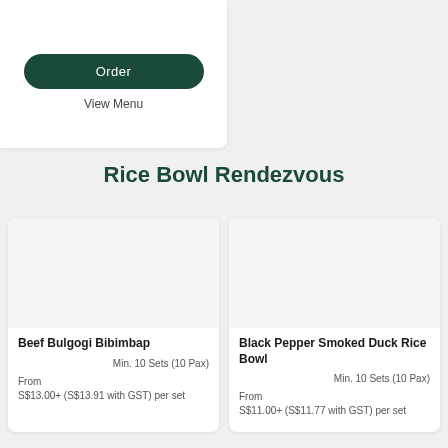Order
View Menu
Rice Bowl Rendezvous
Beef Bulgogi Bibimbap
Min. 10 Sets (10 Pax)
From
S$13.00+ (S$13.91 with GST) per set
Black Pepper Smoked Duck Rice Bowl
Min. 10 Sets (10 Pax)
From
S$11.00+ (S$11.77 with GST) per set